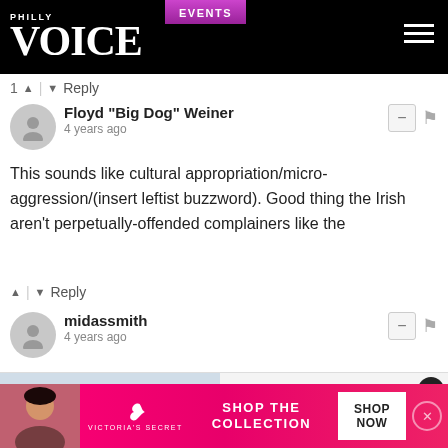Philly VOICE | EVENTS
1 ^ | v Reply
Floyd "Big Dog" Weiner
4 years ago
This sounds like cultural appropriation/micro-aggression/(insert leftist buzzword). Good thing the Irish aren't perpetually-offended complainers like the
^ | v Reply
midassmith
4 years ago
[Figure (screenshot): Advertisement overlay: Photo of a woman at a laptop with text 'How to Maintain a Healthy Lifestyle While Staying Productive'. Close button (X) top right.]
[Figure (screenshot): Victoria's Secret banner ad: 'SHOP THE COLLECTION' with SHOP NOW button and close X.]